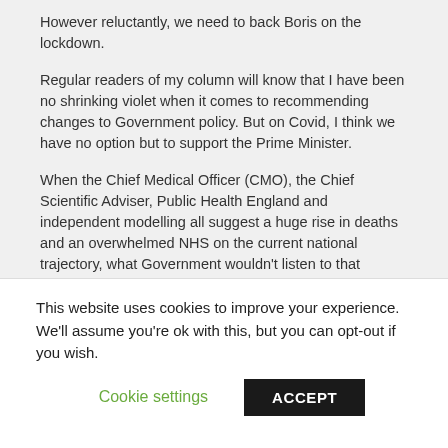However reluctantly, we need to back Boris on the lockdown.
Regular readers of my column will know that I have been no shrinking violet when it comes to recommending changes to Government policy. But on Covid, I think we have no option but to support the Prime Minister.
When the Chief Medical Officer (CMO), the Chief Scientific Adviser, Public Health England and independent modelling all suggest a huge rise in deaths and an overwhelmed NHS on the current national trajectory, what Government wouldn't listen to that advice?
This website uses cookies to improve your experience. We'll assume you're ok with this, but you can opt-out if you wish.
Cookie settings
ACCEPT